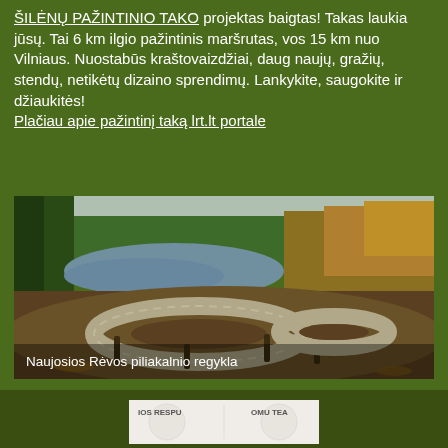ŠILĖNŲ PAŽINTINIO TAKO projektas baigtas! Takas laukia jūsų. Tai 6 km ilgio pažintinis maršrutas, vos 15 km nuo Vilniaus. Nuostabūs kraštovaizdžiai, daug naujų, gražių, stendų, netikėtų dizaino sprendimų. Lankykite, saugokite ir džiaukitės!
Plačiau apie pažintinį taką lrt.lt portale
[Figure (photo): Aerial view of Naujosios Rėvos piliakalnio regykla - a wooden circular viewing platform/deck on a hilltop overlooking a river valley with autumn-colored forests]
Naujosios Rėvos piliakalnio regykla
[Figure (logo): Partially visible logos at bottom: IOS RESPU and OMU TEA text visible on white background]